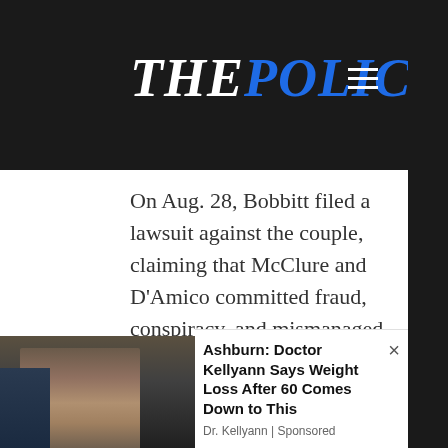THE POLICE TRIBUNE
On Aug. 28, Bobbitt filed a lawsuit against the couple, claiming that McClure and D'Amico committed fraud, conspiracy, and mismanaged the funds, according to NJ.com.
Burlington County Superior Court Judge Paula Dow granted a temporary restraining order two days later, and
[Figure (photo): Partial photo showing legs of a person, cropped at bottom of page]
Ashburn: Doctor Kellyann Says Weight Loss After 60 Comes Down to This
Dr. Kellyann | Sponsored